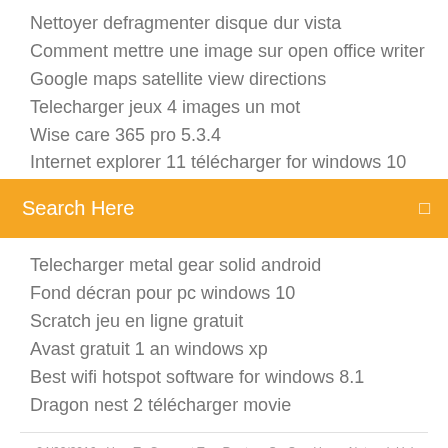Nettoyer defragmenter disque dur vista
Comment mettre une image sur open office writer
Google maps satellite view directions
Telecharger jeux 4 images un mot
Wise care 365 pro 5.3.4
Internet explorer 11 télécharger for windows 10
Search Here
Telecharger metal gear solid android
Fond décran pour pc windows 10
Scratch jeu en ligne gratuit
Avast gratuit 1 an windows xp
Best wifi hotspot software for windows 8.1
Dragon nest 2 télécharger movie
24/02/2016 · How To Connect Two Routers On One Home Network Using A Lan Cable Stock Router Netgear/TP-Link -